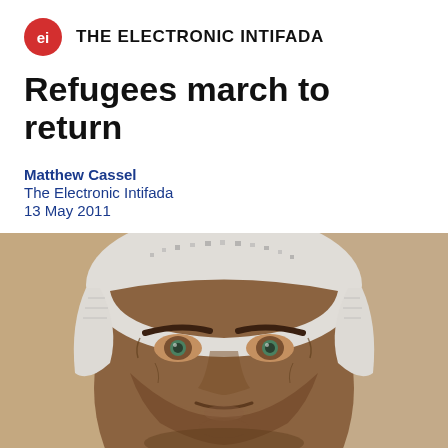THE ELECTRONIC INTIFADA
Refugees march to return
Matthew Cassel
The Electronic Intifada
13 May 2011
[Figure (photo): Close-up portrait of an elderly man wearing a white and grey keffiyeh, looking directly at the camera with intense eyes. Background is blurred beige/tan tones.]